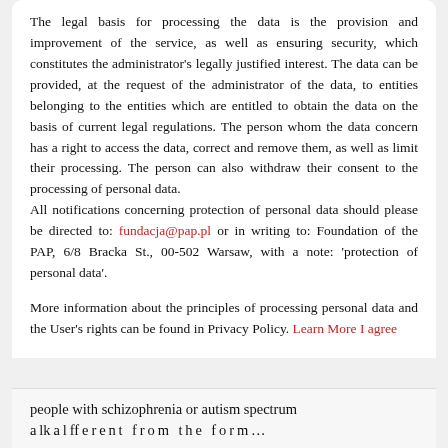The legal basis for processing the data is the provision and improvement of the service, as well as ensuring security, which constitutes the administrator's legally justified interest. The data can be provided, at the request of the administrator of the data, to entities belonging to the entities which are entitled to obtain the data on the basis of current legal regulations. The person whom the data concern has a right to access the data, correct and remove them, as well as limit their processing. The person can also withdraw their consent to the processing of personal data. All notifications concerning protection of personal data should please be directed to: fundacja@pap.pl or in writing to: Foundation of the PAP, 6/8 Bracka St., 00-502 Warsaw, with a note: 'protection of personal data'.
More information about the principles of processing personal data and the User's rights can be found in Privacy Policy. Learn More I agree
people with schizophrenia or autism spectrum...